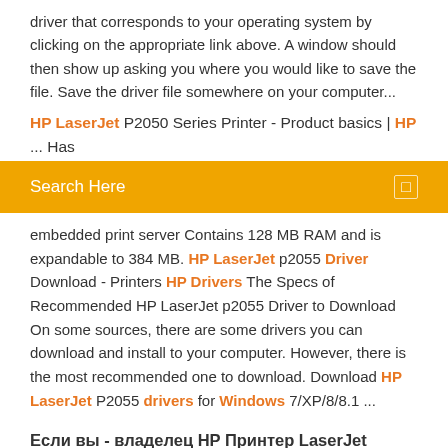driver that corresponds to your operating system by clicking on the appropriate link above. A window should then show up asking you where you would like to save the file. Save the driver file somewhere on your computer...
HP LaserJet P2050 Series Printer - Product basics | HP ... Has
Search Here
embedded print server Contains 128 MB RAM and is expandable to 384 MB. HP LaserJet p2055 Driver Download - Printers HP Drivers The Specs of Recommended HP LaserJet p2055 Driver to Download On some sources, there are some drivers you can download and install to your computer. However, there is the most recommended one to download. Download HP LaserJet P2055 drivers for Windows 7/XP/8/8.1 ...
Если вы - владелец HP Принтер LaserJet P2055dn - вы можете скачать Universal Print для Windows